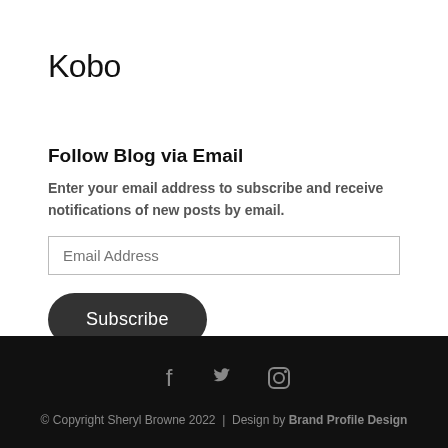Kobo
Follow Blog via Email
Enter your email address to subscribe and receive notifications of new posts by email.
Email Address
Subscribe
© Copyright Sheryl Browne 2022  |  Design by Brand Profile Design